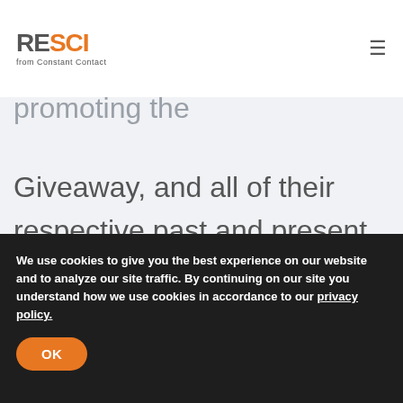RESCI from Constant Contact
running, administering, advising or promoting the Giveaway, and all of their respective past and present officers, directors, employees, agents and representatives (collectively, the “Released Parties”) from and against any and all claims, expenses, and
We use cookies to give you the best experience on our website and to analyze our site traffic. By continuing on our site you understand how we use cookies in accordance to our privacy policy.
OK